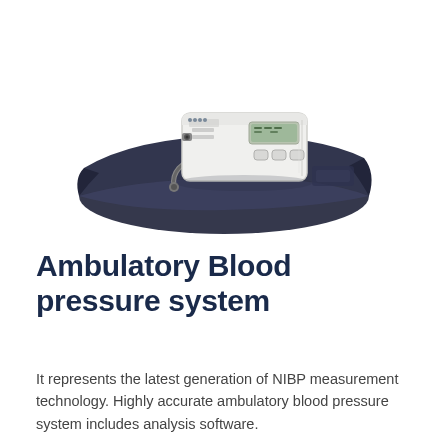[Figure (photo): Ambulatory blood pressure monitor device — a small white rectangular unit with digital display and buttons, connected via tubing to a dark navy/black blood pressure cuff, laid flat on a white background.]
Ambulatory Blood pressure system
It represents the latest generation of NIBP measurement technology. Highly accurate ambulatory blood pressure system includes analysis software.